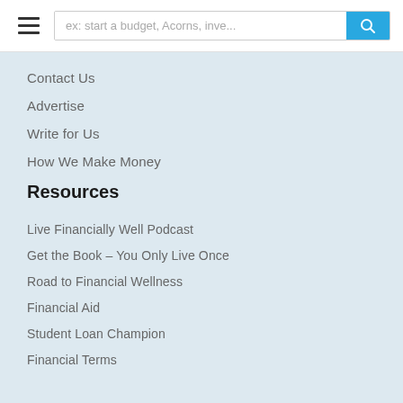ex: start a budget, Acorns, inve...
Contact Us
Advertise
Write for Us
How We Make Money
Resources
Live Financially Well Podcast
Get the Book – You Only Live Once
Road to Financial Wellness
Financial Aid
Student Loan Champion
Financial Terms